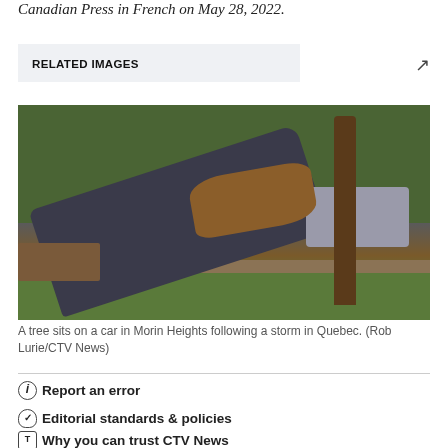Canadian Press in French on May 28, 2022.
RELATED IMAGES
[Figure (photo): A tree sitting on top of an overturned/tilted car in Morin Heights, Quebec, following a storm. A tall tree trunk is visible on the right. Green grass and trees in the background.]
A tree sits on a car in Morin Heights following a storm in Quebec. (Rob Lurie/CTV News)
Report an error
Editorial standards & policies
Why you can trust CTV News